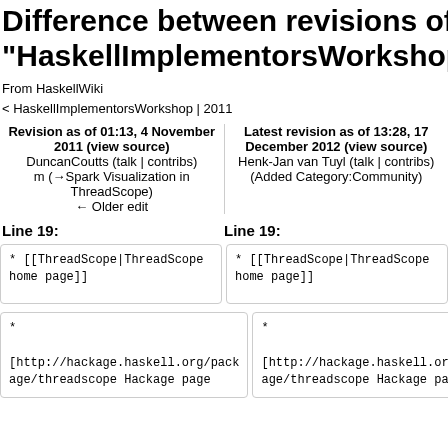Difference between revisions of "HaskellImplementorsWorkshop
From HaskellWiki
< HaskellImplementorsWorkshop | 2011
| Revision as of 01:13, 4 November 2011 (view source) | Latest revision as of 13:28, 17 December 2012 (view source) |
| --- | --- |
| DuncanCoutts (talk | contribs)
m (→Spark Visualization in ThreadScope)
← Older edit | Henk-Jan van Tuyl (talk | contribs)
(Added Category:Community) |
Line 19:
Line 19:
* [[ThreadScope|ThreadScope home page]]
* [[ThreadScope|ThreadScope home page]]
*
[http://hackage.haskell.org/package/threadscope Hackage page
*
[http://hackage.haskell.org/package/threadscope Hackage page